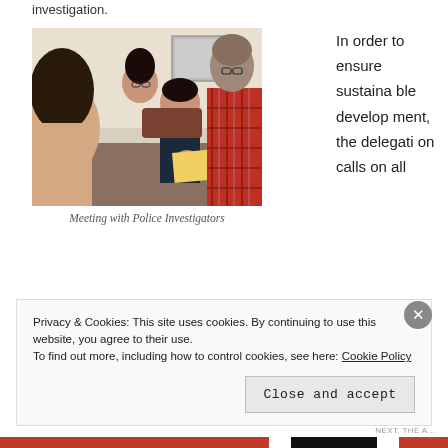investigation.
[Figure (photo): A group of people seated around a table in a meeting, including a person in a police uniform writing on paper, and others including a man in a red plaid shirt viewed from behind.]
Meeting with Police Investigators
In order to ensure sustainable development, the delegation calls on all
Privacy & Cookies: This site uses cookies. By continuing to use this website, you agree to their use.
To find out more, including how to control cookies, see here: Cookie Policy
Close and accept